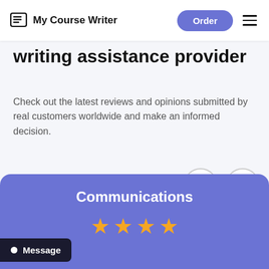My Course Writer | Order
writing assistance provider
Check out the latest reviews and opinions submitted by real customers worldwide and make an informed decision.
[Figure (other): Left and right navigation arrow buttons for carousel]
Communications
[Figure (other): 4 gold star rating]
Message